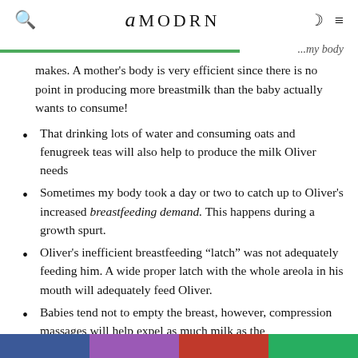AMODRN
...my body makes. A mother's body is very efficient since there is no point in producing more breastmilk than the baby actually wants to consume!
That drinking lots of water and consuming oats and fenugreek teas will also help to produce the milk Oliver needs
Sometimes my body took a day or two to catch up to Oliver's increased breastfeeding demand. This happens during a growth spurt.
Oliver's inefficient breastfeeding "latch" was not adequately feeding him. A wide proper latch with the whole areola in his mouth will adequately feed Oliver.
Babies tend not to empty the breast, however, compression massages will help expel as much milk as the